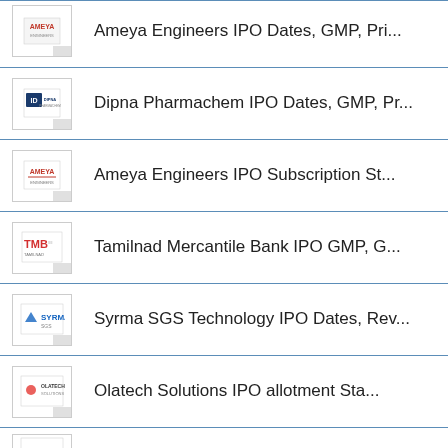Ameya Engineers IPO Dates, GMP, Pri...
Dipna Pharmachem IPO Dates, GMP, Pr...
Ameya Engineers IPO Subscription St...
Tamilnad Mercantile Bank IPO GMP, G...
Syrma SGS Technology IPO Dates, Rev...
Olatech Solutions IPO allotment Sta...